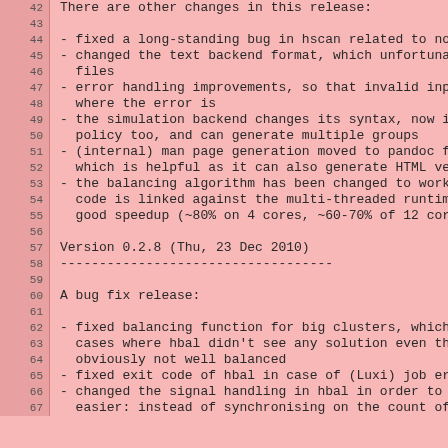42: There are other changes in this release:
44: - fixed a long-standing bug in hscan related to node m
45: - changed the text backend format, which unfortunately
46:   files
47: - error handling improvements, so that invalid input c
48:   where the error is
49: - the simulation backend changes its syntax, now it ta
50:   policy too, and can generate multiple groups
51: - (internal) man page generation moved to pandoc from
52:   which is helpful as it can also generate HTML versio
53: - the balancing algorithm has been changed to work in
54:   code is linked against the multi-threaded runtime; t
55:   good speedup (~80% on 4 cores, ~60-70% of 12 cores)
57: Version 0.2.8 (Thu, 23 Dec 2010)
58: -----------------------------------
60: A bug fix release:
62: - fixed balancing function for big clusters, which wil
63:   cases where hbal didn't see any solution even though
64:   obviously not well balanced
65: - fixed exit code of hbal in case of (Luxi) job errors
66: - changed the signal handling in hbal in order to make
67:   easier: instead of synchronising on the count of sig